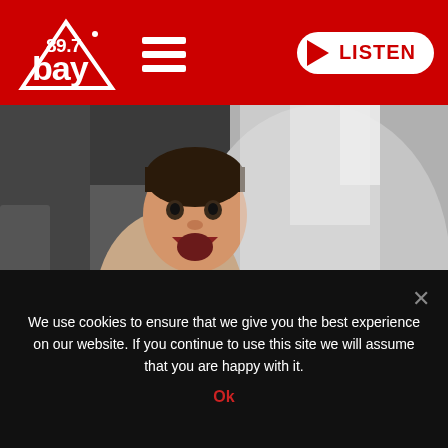[Figure (logo): 89.7 Bay radio station logo in white on red background, with hamburger menu icon]
[Figure (photo): A crying baby/toddler on an airplane, sitting next to an adult, in an aircraft cabin seat]
Women Calls For “Child-Free Flights”
We use cookies to ensure that we give you the best experience on our website. If you continue to use this site we will assume that you are happy with it.
Ok